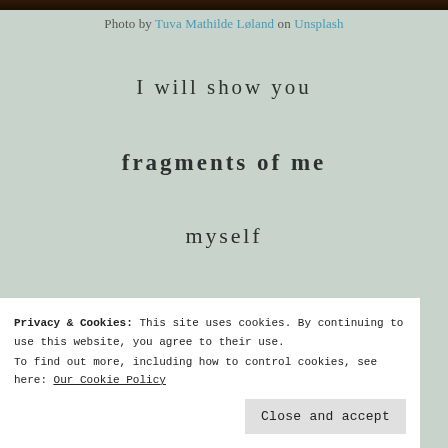[Figure (photo): Dark photograph strip at the top of the page]
Photo by Tuva Mathilde Løland on Unsplash
I will show you
fragments of me
myself
us
hesitantly
Privacy & Cookies: This site uses cookies. By continuing to use this website, you agree to their use.
To find out more, including how to control cookies, see here: Our Cookie Policy